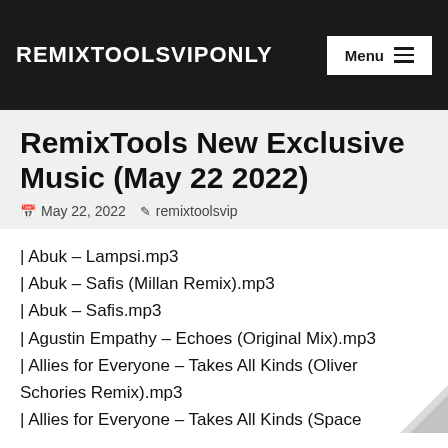REMIXTOOLSVIPONLY
RemixTools New Exclusive Music (May 22 2022)
May 22, 2022  remixtoolsvip
| Abuk – Lampsi.mp3
| Abuk – Safis (Millan Remix).mp3
| Abuk – Safis.mp3
| Agustin Empathy – Echoes (Original Mix).mp3
| Allies for Everyone – Takes All Kinds (Oliver Schories Remix).mp3
| Allies for Everyone – Takes All Kinds (Space